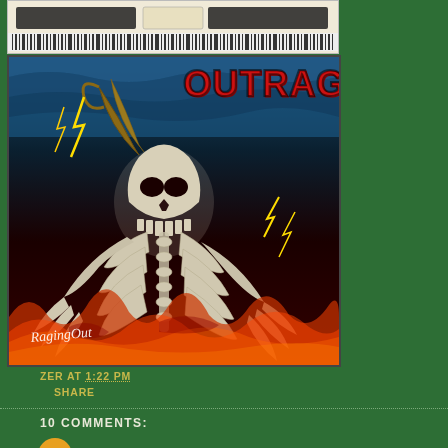[Figure (illustration): Ticket stub or banner strip with barcode-like pattern at the top of the content area]
[Figure (photo): Album cover for 'Outrage' by RagingOut showing a skeletal demon creature with horns, claws, and ribs against a background of flames and lightning bolts. The word OUTRAGE appears in red at the top right. 'RagingOut' is written in script at the bottom left.]
ZER AT 1:22 PM
SHARE
10 COMMENTS: